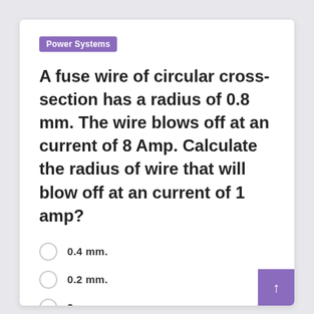Power Systems
A fuse wire of circular cross-section has a radius of 0.8 mm. The wire blows off at an current of 8 Amp. Calculate the radius of wire that will blow off at an current of 1 amp?
0.4 mm.
0.2 mm.
2 mm.